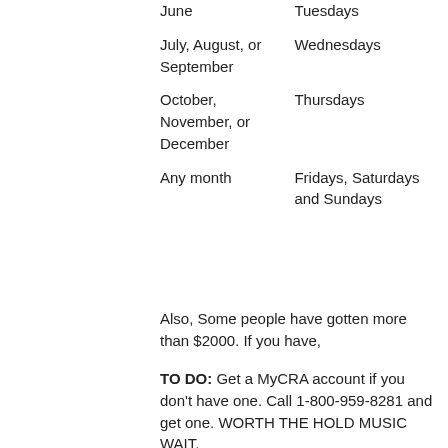| June | Tuesdays |
| July, August, or September | Wednesdays |
| October, November, or December | Thursdays |
| Any month | Fridays, Saturdays and Sundays |
Also, Some people have gotten more than $2000. If you have,
TO DO: Get a MyCRA account if you don't have one. Call 1-800-959-8281 and get one. WORTH THE HOLD MUSIC WAIT.